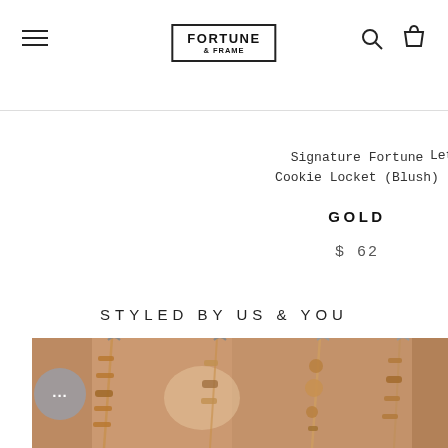Fortune & Frame — navigation header with hamburger menu, logo, search and cart icons
Signature Fortune Cookie Locket (Blush)
Lette
GOLD
$ 62
STYLED BY US & YOU
[Figure (photo): Close-up photo of gold/rose gold jewelry chains and earrings with decorative beads, photographed against a warm beige background]